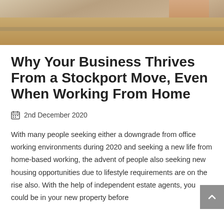[Figure (photo): Photo of cardboard box being sealed with tape, hands visible at top right]
Why Your Business Thrives From a Stockport Move, Even When Working From Home
2nd December 2020
With many people seeking either a downgrade from office working environments during 2020 and seeking a new life from home-based working, the advent of people also seeking new housing opportunities due to lifestyle requirements are on the rise also. With the help of independent estate agents, you could be in your new property before